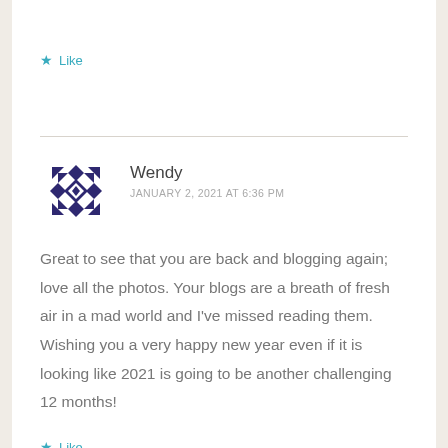★ Like
Wendy
JANUARY 2, 2021 AT 6:36 PM
Great to see that you are back and blogging again; love all the photos. Your blogs are a breath of fresh air in a mad world and I've missed reading them. Wishing you a very happy new year even if it is looking like 2021 is going to be another challenging 12 months!
★ Like